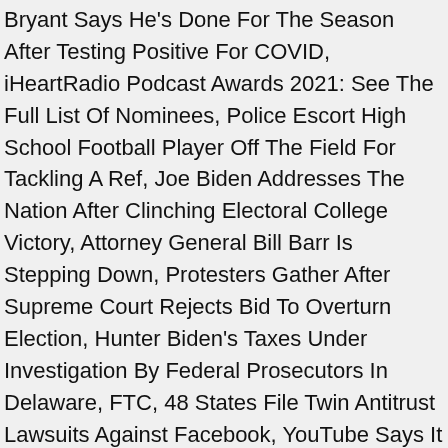Bryant Says He's Done For The Season After Testing Positive For COVID, iHeartRadio Podcast Awards 2021: See The Full List Of Nominees, Police Escort High School Football Player Off The Field For Tackling A Ref, Joe Biden Addresses The Nation After Clinching Electoral College Victory, Attorney General Bill Barr Is Stepping Down, Protesters Gather After Supreme Court Rejects Bid To Overturn Election, Hunter Biden's Taxes Under Investigation By Federal Prosecutors In Delaware, FTC, 48 States File Twin Antitrust Lawsuits Against Facebook, YouTube Says It Will Remove Videos That Make False Election Claims, WATCH: Golf Ball Lands On Alligator And Brave/Crazy Golfer Grabs It, Aggressive Poltergeist Captured On Eerie Video, Mom Of Twin Babies Gives One A Tattoo So People Can Tell Them Apart, Even Google Can't Tell If This Is A Cat Or A Crow, Optical Illusion Looks Like Bride Flashed Her Butt At Her Wedding, Mom Warns Why You Should Never Let People Kiss Your Baby, Harry Styles at Rocket Mortgage FieldHouse - RESCHEDULED DATE, Lead Safe Cleveland Coalition - Know the Dangers. Prevent Exposure. Act. With Help Click here for